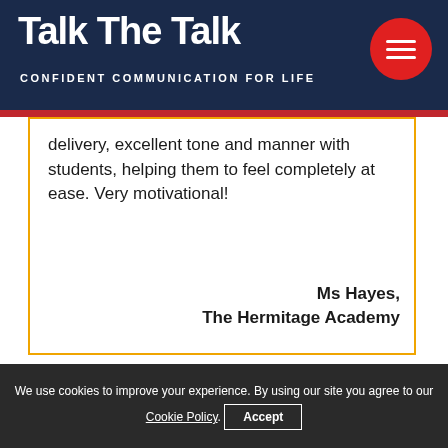Talk The Talk — CONFIDENT COMMUNICATION FOR LIFE
delivery, excellent tone and manner with students, helping them to feel completely at ease. Very motivational!
Ms Hayes, The Hermitage Academy
Lovely atmosphere – the pupils were engaged and
We use cookies to improve your experience. By using our site you agree to our Cookie Policy. Accept